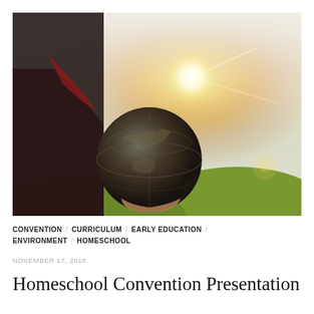[Figure (photo): Person holding a dark globe/world ball outdoors in a sunny field with bright golden sunlight in the background]
CONVENTION / CURRICULUM / EARLY EDUCATION / ENVIRONMENT / HOMESCHOOL
NOVEMBER 17, 2018
Homeschool Convention Presentation